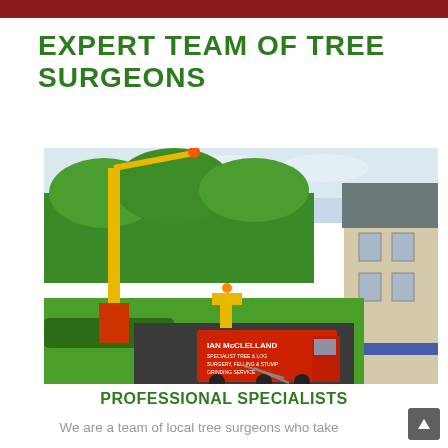EXPERT TEAM OF TREE SURGEONS
[Figure (photo): Aerial view of a property with large trees being worked on by Ian McClelland tree surgery team. A yellow cherry picker crane is extended up into the trees, and a large red Ian McClelland branded truck is parked in the driveway below. A house with grey roof is visible on the right side of the image.]
PROFESSIONAL SPECIALISTS
We are a team of local tree surgeons who take